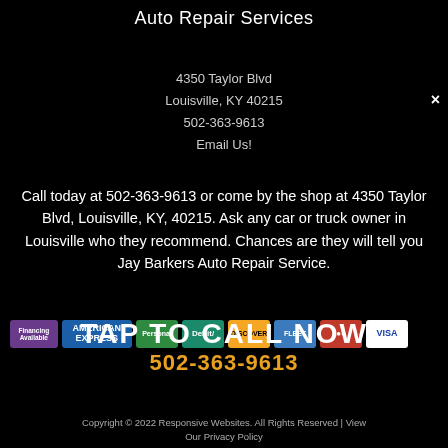Auto Repair Services
4350 Taylor Blvd
Louisville, KY 40215
502-363-9613
Email Us!
Call today at 502-363-9613 or come by the shop at 4350 Taylor Blvd, Louisville, KY, 40215. Ask any car or truck owner in Louisville who they recommend. Chances are they will tell you Jay Barkers Auto Repair Service.
[Figure (other): Payment method logos: Financing Available, American Express, Personal, Debit, Discover, Fleet, Mastercard, Visa]
TAP TO CALL NOW
502-363-9613
Copyright © 2022 Responsive Websites. All Rights Reserved | View Our Privacy Policy